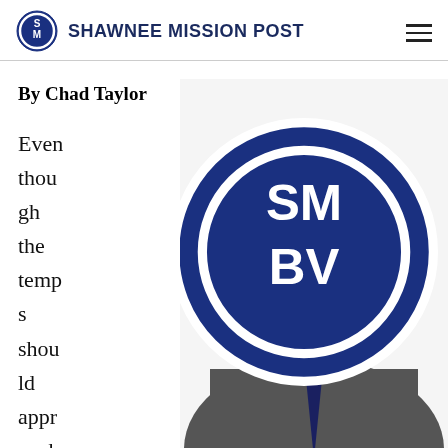SHAWNEE MISSION POST
By Chad Taylor
Even though the temps should approach
[Figure (photo): Headshot of a bald man with glasses, beard, wearing a grey suit jacket, pink shirt, and dark tie, smiling at the camera. Bottom right has a circular Shawnee Mission Post logo badge.]